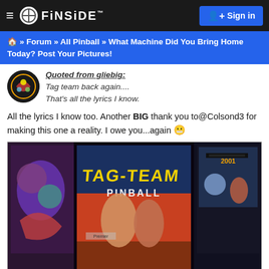≡ FINSIDE  Sign in
🏠 » Forum » All Pinball » What Machine Did You Bring Home Today? Post Your Pictures!
Quoted from gliebig: Tag team back again.... That's all the lyrics I know.
All the lyrics I know too. Another BIG thank you to@Colsond3 for making this one a reality. I owe you...again 😬
[Figure (photo): Photo of Tag Team Pinball machine backglass/cabinet artwork with other pinball machines visible on either side]